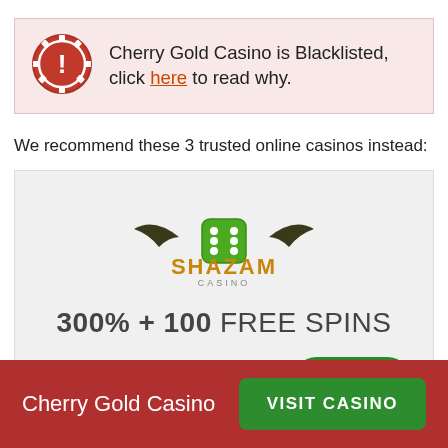Cherry Gold Casino is Blacklisted, click here to read why.
We recommend these 3 trusted online casinos instead:
[Figure (logo): Shazam Casino logo with green dice and bat wings]
300% + 100 FREE SPINS
READ REVIEW
PLAY
Cherry Gold Casino
VISIT CASINO